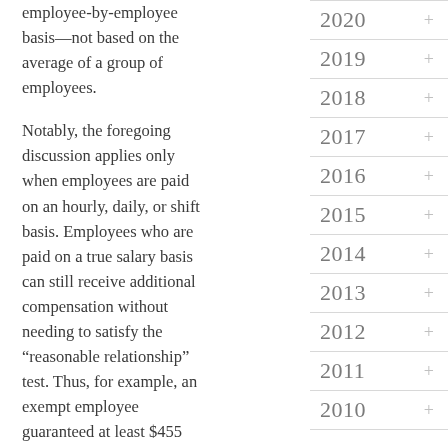employee-by-employee basis—not based on the average of a group of employees.

Notably, the foregoing discussion applies only when employees are paid on an hourly, daily, or shift basis. Employees who are paid on a true salary basis can still receive additional compensation without needing to satisfy the "reasonable relationship" test. Thus, for example, an exempt employee guaranteed at least $455
2020
2019
2018
2017
2016
2015
2014
2013
2012
2011
2010